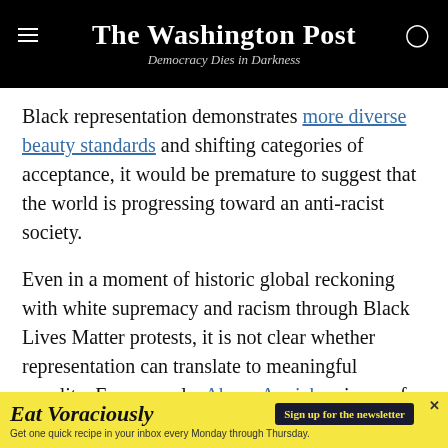The Washington Post — Democracy Dies in Darkness
Black representation demonstrates more diverse beauty standards and shifting categories of acceptance, it would be premature to suggest that the world is progressing toward an anti-racist society.
Even in a moment of historic global reckoning with white supremacy and racism through Black Lives Matter protests, it is not clear whether representation can translate to meaningful equality. For example, Abena Appiah, winner of the 2020 Miss Grand International pageant and the first Black woman to represent the United States in that pageant, wore a
[Figure (other): Advertisement banner: 'Eat Voraciously — Sign up for the newsletter. Get one quick recipe in your inbox every Monday through Thursday.']